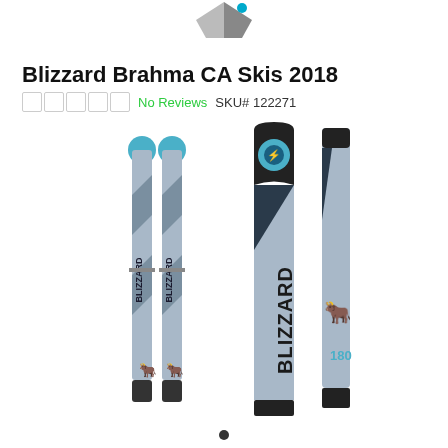[Figure (logo): Partial logo visible at top center of page]
Blizzard Brahma CA Skis 2018
No Reviews  SKU# 122271
[Figure (photo): Product photo of Blizzard Brahma CA Skis 2018 showing four views of gray skis with cyan blue accents and Blizzard branding. Two pairs shown: left pair showing full ski length from tip to tail, right pair showing close-up top/side views with '180' size marking visible.]